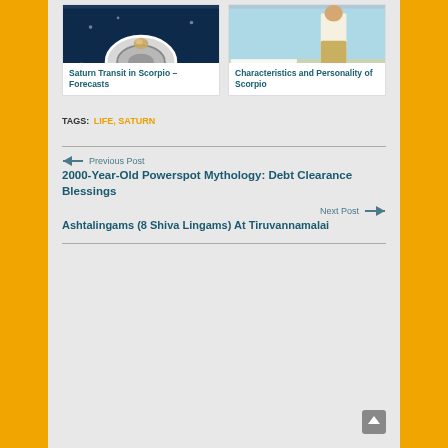[Figure (photo): Card image of astrology plate/zodiac wheel on dark blue background]
Saturn Transit in Scorpio – Forecasts
[Figure (photo): Card image of person standing with text overlay showing 'es and Scorpio']
Characteristics and Personality of Scorpio
TAGS: LIFE, SATURN
← Previous Post
2000-Year-Old Powerspot Mythology: Debt Clearance Blessings
Next Post →
Ashtalingams (8 Shiva Lingams) At Tiruvannamalai